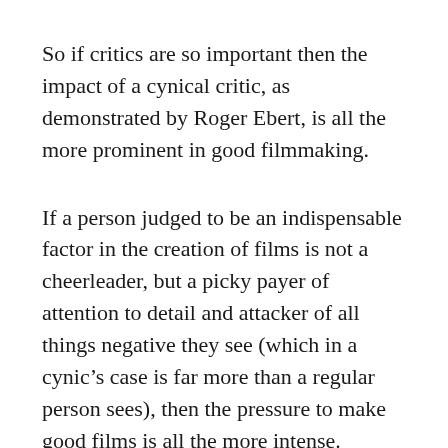So if critics are so important then the impact of a cynical critic, as demonstrated by Roger Ebert, is all the more prominent in good filmmaking.
If a person judged to be an indispensable factor in the creation of films is not a cheerleader, but a picky payer of attention to detail and attacker of all things negative they see (which in a cynic's case is far more than a regular person sees), then the pressure to make good films is all the more intense. Having the extreme of the absolute hardest audience member to pleases gives filmmakers a high bar that the closer to the better their movie is